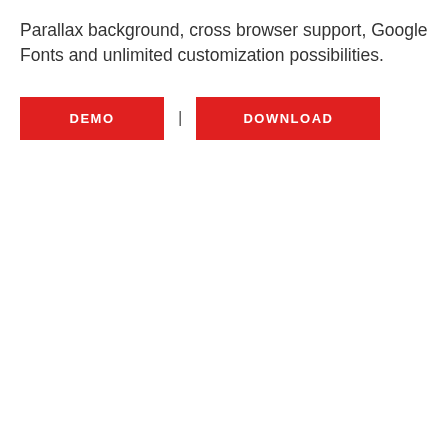Parallax background, cross browser support, Google Fonts and unlimited customization possibilities.
DEMO | DOWNLOAD